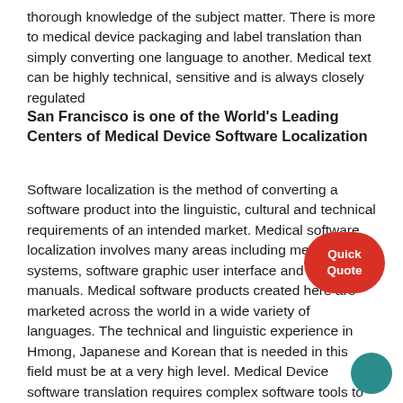thorough knowledge of the subject matter. There is more to medical device packaging and label translation than simply converting one language to another. Medical text can be highly technical, sensitive and is always closely regulated
San Francisco is one of the World's Leading Centers of Medical Device Software Localization
Software localization is the method of converting a software product into the linguistic, cultural and technical requirements of an intended market. Medical software localization involves many areas including medical systems, software graphic user interface and user manuals. Medical software products created here are marketed across the world in a wide variety of languages. The technical and linguistic experience in Hmong, Japanese and Korean that is needed in this field must be at a very high level. Medical Device software translation requires complex software tools to assist a procedure which can be time consuming and costly. These tools are commonly referred to as computer aided translation (CAT) tools. Medical Device software localization projects often run in parallel with the
[Figure (other): Red rounded pill-shaped button with white text 'Quick Quote']
[Figure (other): Teal circular button in bottom-right corner]